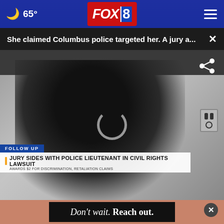65° FOX 8
She claimed Columbus police targeted her. A jury a...
[Figure (screenshot): Video screenshot of a woman in a dark blazer sitting at a table, with a TV news lower-third graphic overlay reading: FOLLOW UP / JURY SIDES WITH POLICE LIEUTENANT IN CIVIL RIGHTS LAWSUIT / AWARDS $2 FOR DISCRIMINATION, RETALIATION CLAIMS]
FOLLOW UP — JURY SIDES WITH POLICE LIEUTENANT IN CIVIL RIGHTS LAWSUIT — AWARDS $2 FOR DISCRIMINATION, RETALIATION CLAIMS
[Figure (screenshot): Advertisement banner: Don't wait. Reach out. with a dark background image of a person at a table]